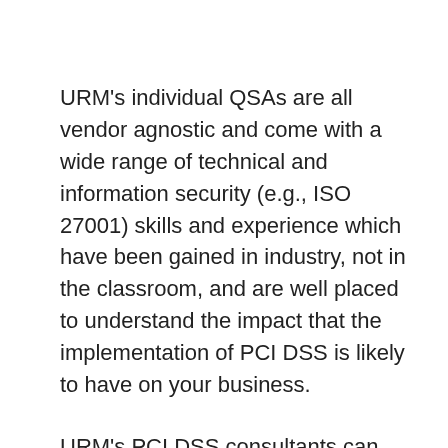URM's individual QSAs are all vendor agnostic and come with a wide range of technical and information security (e.g., ISO 27001) skills and experience which have been gained in industry, not in the classroom, and are well placed to understand the impact that the implementation of PCI DSS is likely to have on your business.
URM's PCI DSS consultants can provide invaluable assistance in